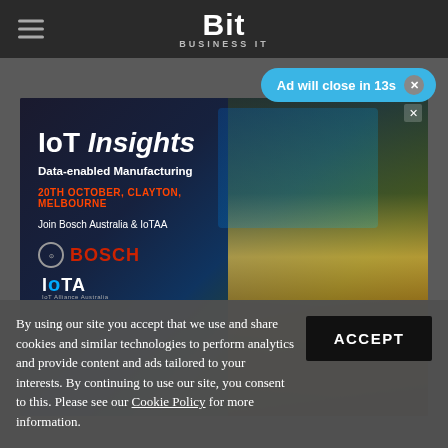Bit Business IT
Ad will close in 13s
[Figure (screenshot): IoT Insights advertisement banner featuring an industrial worker in a hard hat and safety vest against a dark digital/manufacturing backdrop. Shows text: IoT Insights, Data-enabled Manufacturing, 20TH OCTOBER, CLAYTON, MELBOURNE, Join Bosch Australia & IoTAA, with Bosch and IoTA logos.]
By using our site you accept that we use and share cookies and similar technologies to perform analytics and provide content and ads tailored to your interests. By continuing to use our site, you consent to this. Please see our Cookie Policy for more information.